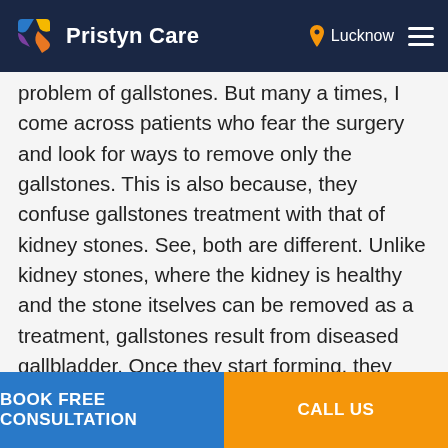Pristyn Care — Lucknow
problem of gallstones. But many a times, I come across patients who fear the surgery and look for ways to remove only the gallstones. This is also because, they confuse gallstones treatment with that of kidney stones. See, both are different. Unlike kidney stones, where the kidney is healthy and the stone itselves can be removed as a treatment, gallstones result from diseased gallbladder. Once they start forming, they keep crystallizing unless the entire gallbladder is removed permanently. Otherwise, you would experience severe and unbearable pain that will last for hours and spread to the entire right side of your system. With passing days, it would only become more frequent and worse each day. This is why I suggest you
BOOK FREE CONSULTATION   CALL US